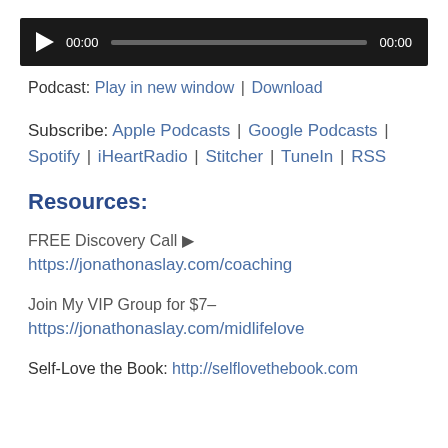[Figure (screenshot): Audio player bar with play button, time 00:00, progress bar, and end time 00:00 on dark background]
Podcast: Play in new window | Download
Subscribe: Apple Podcasts | Google Podcasts | Spotify | iHeartRadio | Stitcher | TuneIn | RSS
Resources:
FREE Discovery Call ▶
https://jonathonaslay.com/coaching
Join My VIP Group for $7–
https://jonathonaslay.com/midlifelove
Self-Love the Book: http://selflovethebook.com